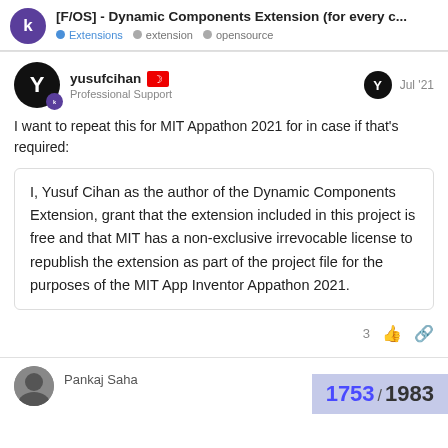[F/OS] - Dynamic Components Extension (for every c... Extensions · extension · opensource
I want to repeat this for MIT Appathon 2021 for in case if that's required:
I, Yusuf Cihan as the author of the Dynamic Components Extension, grant that the extension included in this project is free and that MIT has a non-exclusive irrevocable license to republish the extension as part of the project file for the purposes of the MIT App Inventor Appathon 2021.
3
Pankaj Saha
1753 / 1983